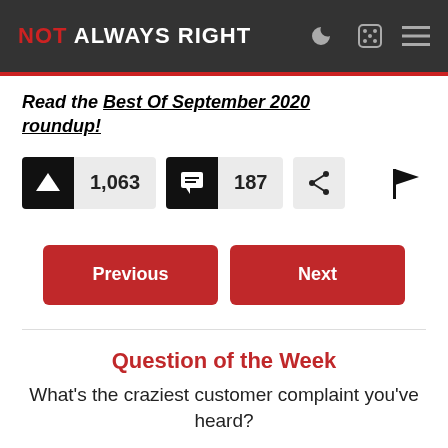NOT ALWAYS RIGHT
Read the Best Of September 2020 roundup!
[Figure (infographic): Upvote button showing 1,063 votes, comment button showing 187 comments, share button, and flag button]
Previous | Next
Question of the Week
What’s the craziest customer complaint you’ve heard?